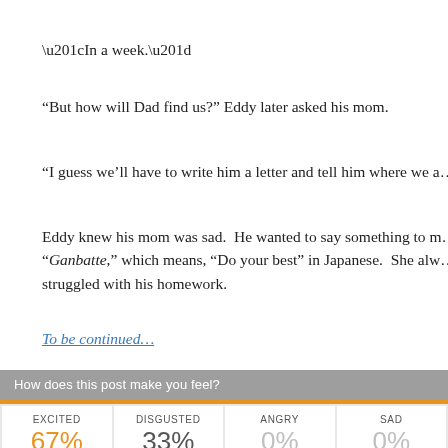“In a week.”
“But how will Dad find us?” Eddy later asked his mom.
“I guess we’ll have to write him a letter and tell him where we a…
Eddy knew his mom was sad.  He wanted to say something to m… “Ganbatte,” which means, “Do your best” in Japanese.  She alw… struggled with his homework.
To be continued…
[Figure (infographic): Emotion poll widget with header 'How does this post make you feel?' and orange bar separator, showing four emotion cards: EXCITED 67%, DISGUSTED 33%, ANGRY 0%, SAD 0%]